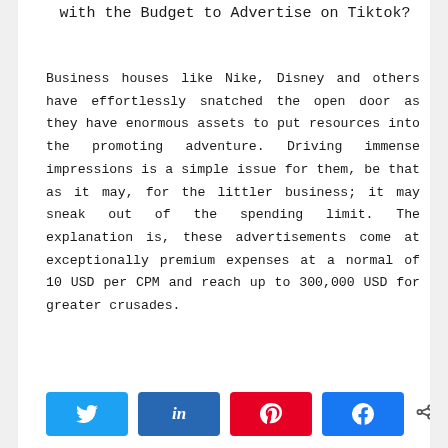with the Budget to Advertise on Tiktok?
Business houses like Nike, Disney and others have effortlessly snatched the open door as they have enormous assets to put resources into the promoting adventure. Driving immense impressions is a simple issue for them, be that as it may, for the littler business; it may sneak out of the spending limit. The explanation is, these advertisements come at exceptionally premium expenses at a normal of 10 USD per CPM and reach up to 300,000 USD for greater crusades.
[Figure (other): Social share buttons: Twitter, LinkedIn, Pinterest, Facebook, and a shares counter showing 0 SHARES]